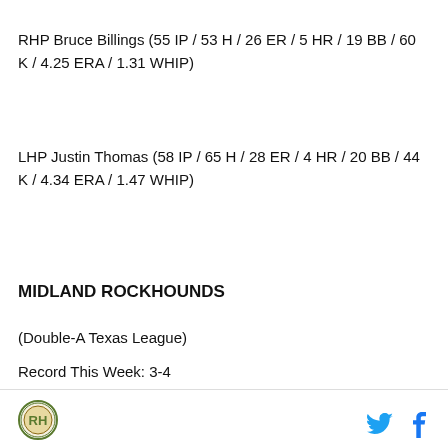RHP Bruce Billings (55 IP / 53 H / 26 ER / 5 HR / 19 BB / 60 K / 4.25 ERA / 1.31 WHIP)
LHP Justin Thomas (58 IP / 65 H / 28 ER / 4 HR / 20 BB / 44 K / 4.34 ERA / 1.47 WHIP)
MIDLAND ROCKHOUNDS
(Double-A Texas League)
Record This Week: 3-4
Record This Season: 27-29
[Figure (logo): Midland RockHounds circular team logo]
[Figure (other): Twitter and Facebook social media icons]